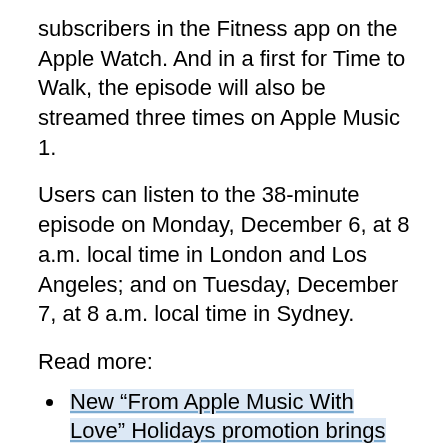subscribers in the Fitness app on the Apple Watch. And in a first for Time to Walk, the episode will also be streamed three times on Apple Music 1.
Users can listen to the 38-minute episode on Monday, December 6, at 8 a.m. local time in London and Los Angeles; and on Tuesday, December 7, at 8 a.m. local time in Sydney.
Read more:
New “From Apple Music With Love” Holidays promotion brings exclusive EPs, playlists and more for subscribers
Winners of 2021 Apple Music Awards announced: The Weeknd wins ‘Artist of the Year’ award
Apple Fitness+ is now available in Austria